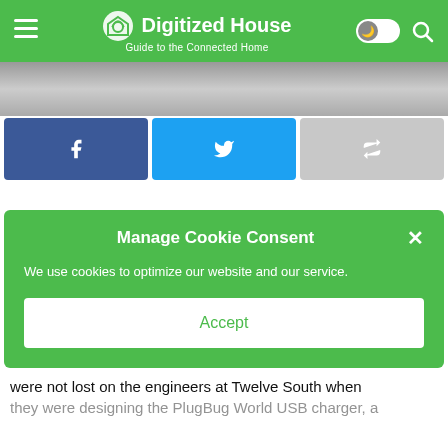Digitized House — Guide to the Connected Home
[Figure (screenshot): Partial image strip visible below header]
[Figure (screenshot): Social share buttons: Facebook, Twitter, Share]
Manage Cookie Consent
We use cookies to optimize our website and our service.
Accept
were not lost on the engineers at Twelve South when they were designing the PlugBug World USB charger, a